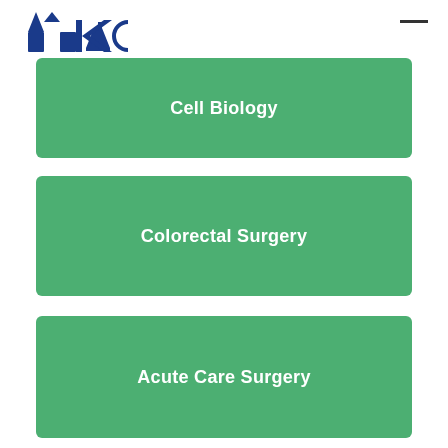[Figure (logo): KIC or similar medical institution logo in blue, partially visible at top left]
Cell Biology
Colorectal Surgery
Acute Care Surgery